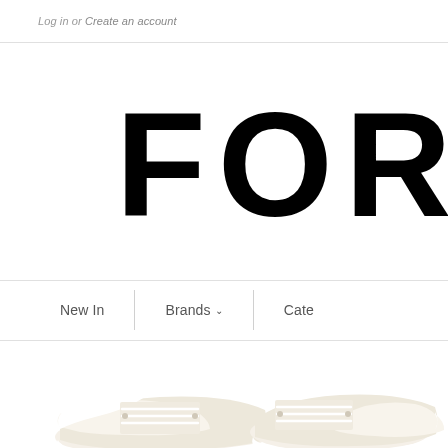Log in or Create an account
[Figure (logo): FORWARD brand logo text in large bold black letters, partially cropped — showing 'FORW' with the rest cut off at right edge]
New In | Brands ∨ | Cate
[Figure (photo): Partial view of cream/off-white low-top canvas sneakers with white laces and soles, product photo on white background]